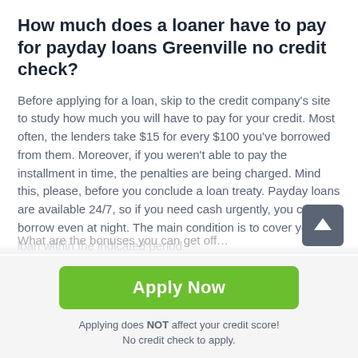How much does a loaner have to pay for payday loans Greenville no credit check?
Before applying for a loan, skip to the credit company's site to study how much you will have to pay for your credit. Most often, the lenders take $15 for every $100 you've borrowed from them. Moreover, if you weren't able to pay the installment in time, the penalties are being charged. Mind this, please, before you conclude a loan treaty. Payday loans are available 24/7, so if you need cash urgently, you can borrow even at night. The main condition is to cover your loan within the indicated period.
[Figure (other): Scroll-to-top button: dark grey rounded square with upward arrow icon]
Apply Now
Applying does NOT affect your credit score!
No credit check to apply.